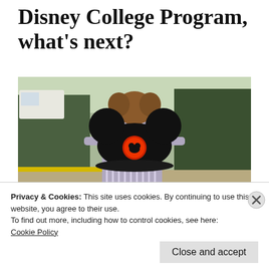Disney College Program, what's next?
[Figure (photo): Person holding a Mickey Mouse ears hat outdoors in a parking lot/wooded area with a white van in background]
Whoa, what a journey. The Disney College Program has been the most life-changing
Privacy & Cookies: This site uses cookies. By continuing to use this website, you agree to their use.
To find out more, including how to control cookies, see here:
Cookie Policy
Close and accept